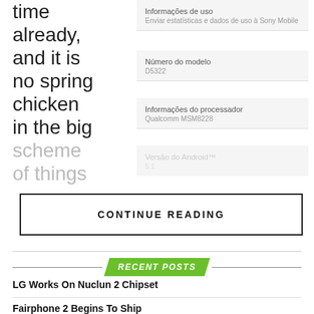time already, and it is no spring chicken in the big scheme of things
Informações de uso — Enviar estatísticas e dados de uso à Sony Mobile
Número do modelo — D5322
Informações do processador — Qualcomm MSM8228
Versão do Android™
CONTINUE READING
RECENT POSTS
LG Works On Nuclun 2 Chipset
Fairphone 2 Begins To Ship
Samsung Galaxy A9 Gains FCC Nod Of Approval